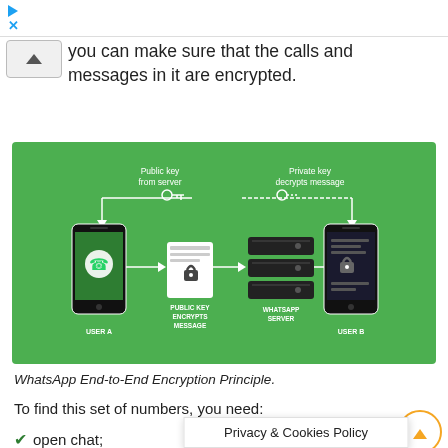[Ad icons: play, close]
you can make sure that the calls and messages in it are encrypted.
[Figure (infographic): WhatsApp End-to-End Encryption diagram on green background. Shows User A (phone with WhatsApp logo) sending to Public Key Encrypts Message (document with lock), then to WhatsApp Server (stacked server icon), then to User B (phone). Above: 'Public key from server' label with key icon on left side; 'Private key decrypts message' label with key icon on right side.]
WhatsApp End-to-End Encryption Principle.
To find this set of numbers, you need:
open chat;
click on the ... r to
Privacy & Cookies Policy